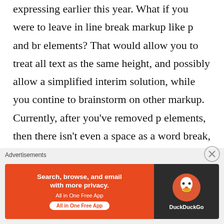expressing earlier this year. What if you were to leave in line break markup like p and br elements? That would allow you to treat all text as the same height, and possibly allow a simplified interim solution, while you contine to brainstorm on other markup. Currently, after you've removed p elements, then there isn't even a space as a word break, let alone a line break! Leaving in nbsp elements or converting them to space instead of empty strings would be cool too:o)
Oh, BTW, congratulations on a great plugin – it
Advertisements
[Figure (infographic): DuckDuckGo advertisement banner: orange left section with text 'Search, browse, and email with more privacy. All in One Free App' and a button, dark right section with DuckDuckGo duck logo.]